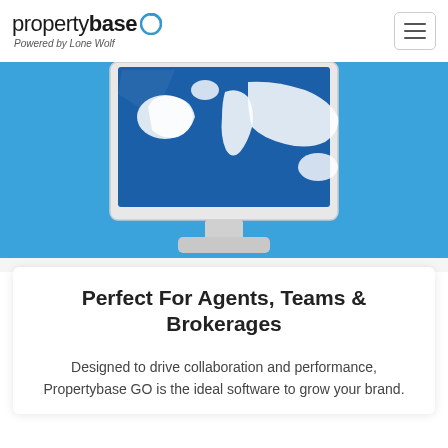propertybase — Powered by Lone Wolf
[Figure (illustration): Cropped screenshot of a desktop computer monitor displaying a blue world map graphic, set against a blue background. The image is partially cut off, showing only the upper portion of the monitor.]
Perfect For Agents, Teams & Brokerages
Designed to drive collaboration and performance, Propertybase GO is the ideal software to grow your brand.